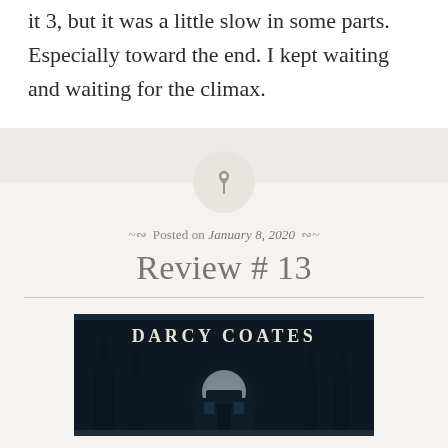it 3, but it was a little slow in some parts. Especially toward the end. I kept waiting and waiting for the climax.
Posted on January 8, 2020
Review # 13
[Figure (photo): Book cover for a Darcy Coates novel — dark teal/navy background with bare trees and a moonlit house, text reading 'DARCY COATES' in large serif letters at the top]